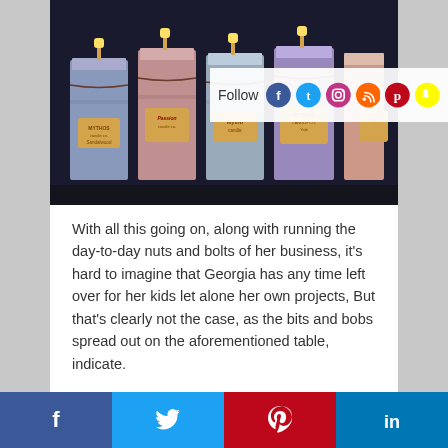[Figure (photo): Several candles wrapped in colored fabric/paper with brown paper tag labels reading MYTHOS Candle Co. and scent names including Passion, tied with twine, arranged in a row on a dark background.]
Follow
With all this going on, along with running the day-to-day nuts and bolts of her business, it's hard to imagine that Georgia has any time left over for her kids let alone her own projects, But that's clearly not the case, as the bits and bobs spread out on the aforementioned table, indicate.
"The kids are always my priority," she said
f  t  p  in